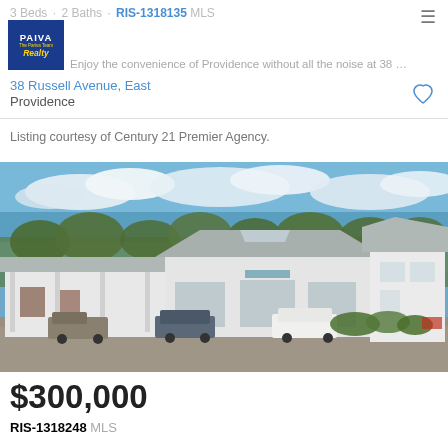3 Beds · 2 Baths · RIS-1318135 MLS
[Figure (logo): Paiva Realty - The Pariva Team logo, blue background with white and gold text]
Enjoy the convenience of Providence without all the noise at 38 Russell Ave...
38 Russell Avenue, East Providence
Listing courtesy of Century 21 Premier Agency.
[Figure (photo): Exterior photo of a commercial/retail building with gray roof, white exterior, parking lot in front, blue sky with clouds and trees in background]
$300,000
RIS-1318248 MLS